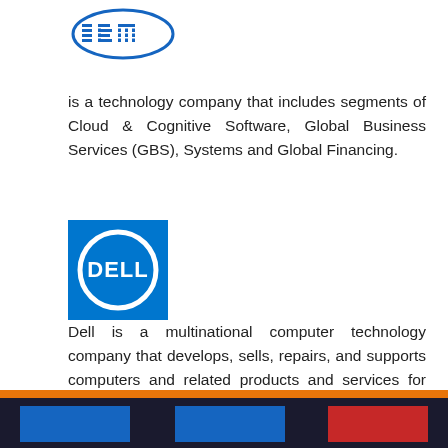[Figure (logo): IBM logo — oval shape with horizontal blue stripes and IBM text in blue]
is a technology company that includes segments of Cloud & Cognitive Software, Global Business Services (GBS), Systems and Global Financing.
[Figure (logo): Dell logo — white Dell text on blue square background with white circle outline]
Dell is a multinational computer technology company that develops, sells, repairs, and supports computers and related products and services for example laptops, tablets and desktop computers.